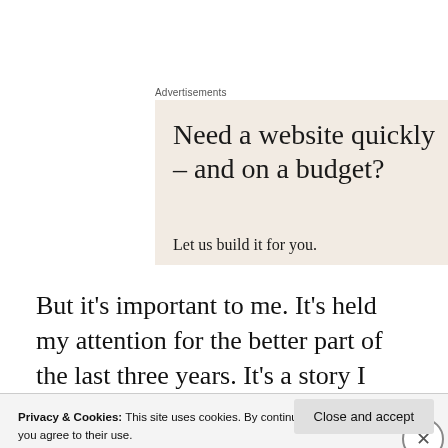Advertisements
[Figure (other): Advertisement box with beige background. Headline: 'Need a website quickly – and on a budget?' Subtext: 'Let us build it for you.']
But it's important to me. It's held my attention for the better part of the last three years. It's a story I want to write.
Privacy & Cookies: This site uses cookies. By continuing to use this website, you agree to their use.
To find out more, including how to control cookies, see here: Cookie Policy
Close and accept